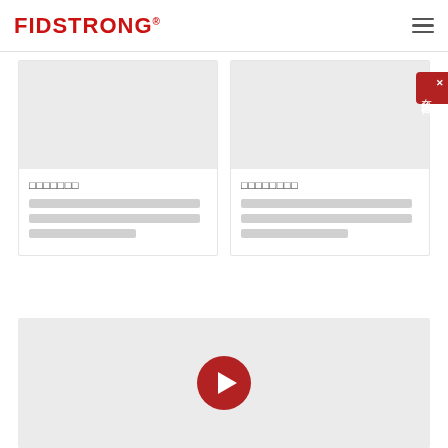FIDSTRONG®
[Figure (screenshot): Card 1 with gray placeholder image area]
□□□□□□□
□□□□□□□□□□□□□□□□□□□□□□□□□□□□□□□□□□□□□□□□□□□□□
[Figure (screenshot): Card 2 with gray placeholder image area]
□□□□□□□□
□□□□□□□□□□□□□□□□□□□□□□□□□□□□□□□□□□□□□□□□□□□□□
[Figure (screenshot): Video player area with red play button]